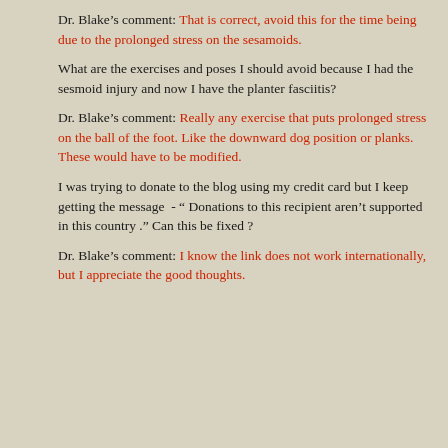Dr. Blake's comment: That is correct, avoid this for the time being due to the prolonged stress on the sesamoids.
What are the exercises and poses I should avoid because I had the sesmoid injury and now I have the planter fasciitis?
Dr. Blake's comment: Really any exercise that puts prolonged stress on the ball of the foot. Like the downward dog position or planks. These would have to be modified.
I was trying to donate to the blog using my credit card but I keep getting the message  - “ Donations to this recipient aren’t supported in this country .” Can this be fixed ?
Dr. Blake's comment: I know the link does not work internationally, but I appreciate the good thoughts.